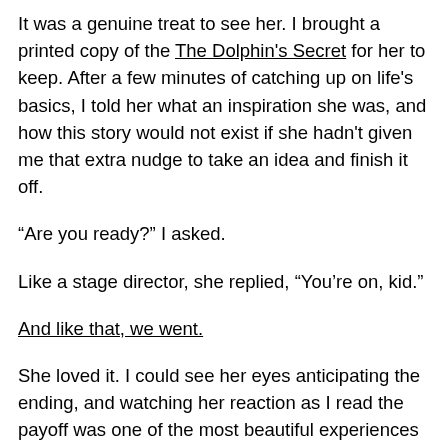It was a genuine treat to see her. I brought a printed copy of the The Dolphin's Secret for her to keep. After a few minutes of catching up on life's basics, I told her what an inspiration she was, and how this story would not exist if she hadn't given me that extra nudge to take an idea and finish it off.
“Are you ready?” I asked.
Like a stage director, she replied, “You’re on, kid.”
And like that, we went.
She loved it. I could see her eyes anticipating the ending, and watching her reaction as I read the payoff was one of the most beautiful experiences I’ve ever had. Afterward, we talked a little about what the story means, which I’ll leave out of this post.